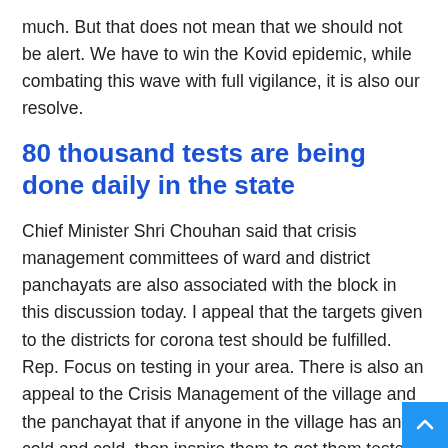much. But that does not mean that we should not be alert. We have to win the Kovid epidemic, while combating this wave with full vigilance, it is also our resolve.
80 thousand tests are being done daily in the state
Chief Minister Shri Chouhan said that crisis management committees of ward and district panchayats are also associated with the block in this discussion today. I appeal that the targets given to the districts for corona test should be fulfilled. Rep. Focus on testing in your area. There is also an appeal to the Crisis Management of the village and the panchayat that if anyone in the village has any cold and cold, then inspire them to get them tested. The Chief Minister appealed to the Panchayat Level Crisis Management Committees to see that no one is left out of vaccination.